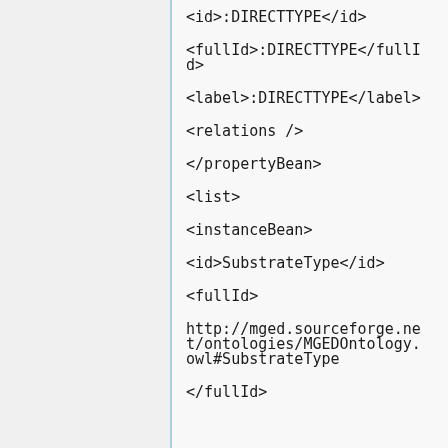<id>:DIRECTTYPE</id>
<fullId>:DIRECTTYPE</fullId>
<label>:DIRECTTYPE</label>
<relations />
</propertyBean>
<list>
<instanceBean>
<id>SubstrateType</id>
<fullId>
http://mged.sourceforge.net/ontologies/MGEDOntology.owl#SubstrateType
</fullId>